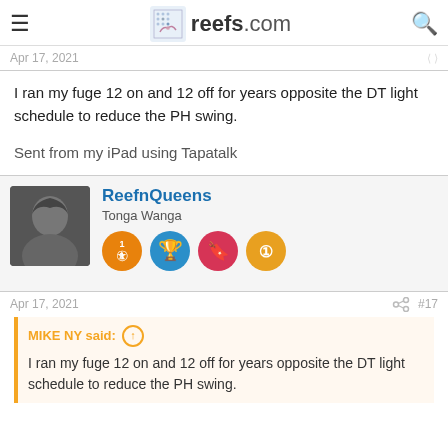reefs.com
Apr 17, 2021
I ran my fuge 12 on and 12 off for years opposite the DT light schedule to reduce the PH swing.
Sent from my iPad using Tapatalk
ReefnQueens
Tonga Wanga
Apr 17, 2021  #17
MIKE NY said:
I ran my fuge 12 on and 12 off for years opposite the DT light schedule to reduce the PH swing.